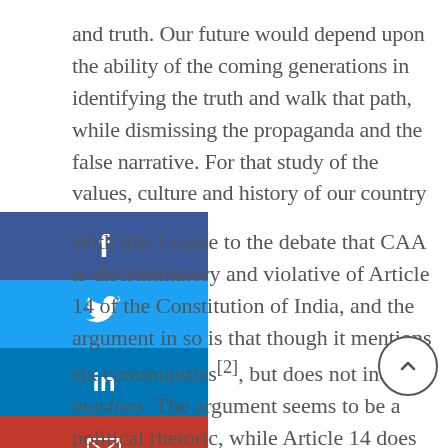and truth. Our future would depend upon the ability of the coming generations in identifying the truth and walk that path, while dismissing the propaganda and the false narrative. For that study of the values, culture and history of our country is inevitable.
[Figure (infographic): Social sharing buttons bar on the left side: Facebook (blue), Twitter (light blue), LinkedIn (dark blue), Email (red), More/Plus (grey)]
With this I come to the debate that CAA is discriminatory and violative of Article 14 of the Constitution of India, and the argument in so is that though it mentions six communities[2], but does not include muslims. The argument seems to be a political rhetoric, while Article 14 does not provide for universal equality, rather it strikes at class legislation. It is